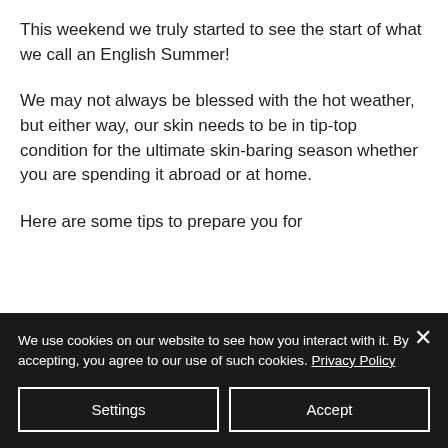This weekend we truly started to see the start of what we call an English Summer!
We may not always be blessed with the hot weather, but either way, our skin needs to be in tip-top condition for the ultimate skin-baring season whether you are spending it abroad or at home.
Here are some tips to prepare you for
We use cookies on our website to see how you interact with it. By accepting, you agree to our use of such cookies. Privacy Policy